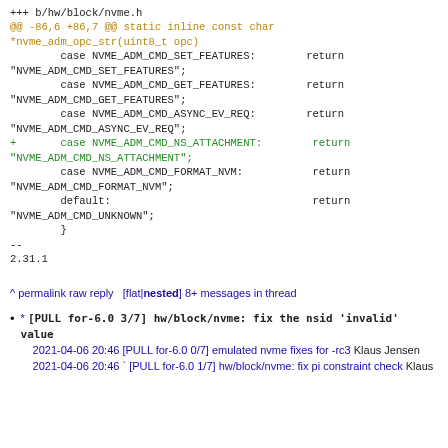+++ b/hw/block/nvme.h
@@ -86,6 +86,7 @@ static inline const char *nvme_adm_opc_str(uint8_t opc)
        case NVME_ADM_CMD_SET_FEATURES:        return "NVME_ADM_CMD_SET_FEATURES";
        case NVME_ADM_CMD_GET_FEATURES:        return "NVME_ADM_CMD_GET_FEATURES";
        case NVME_ADM_CMD_ASYNC_EV_REQ:        return "NVME_ADM_CMD_ASYNC_EV_REQ";
+       case NVME_ADM_CMD_NS_ATTACHMENT:       return "NVME_ADM_CMD_NS_ATTACHMENT";
        case NVME_ADM_CMD_FORMAT_NVM:           return "NVME_ADM_CMD_FORMAT_NVM";
        default:                               return "NVME_ADM_CMD_UNKNOWN";
        }
--
2.31.1
^ permalink raw reply   [flat|nested] 8+ messages in thread
* [PULL for-6.0 3/7] hw/block/nvme: fix the nsid 'invalid' value
  2021-04-06 20:46 [PULL for-6.0 0/7] emulated nvme fixes for -rc3 Klaus Jensen
  2021-04-06 20:46 ` [PULL for-6.0 1/7] hw/block/nvme: fix pi constraint check Klaus